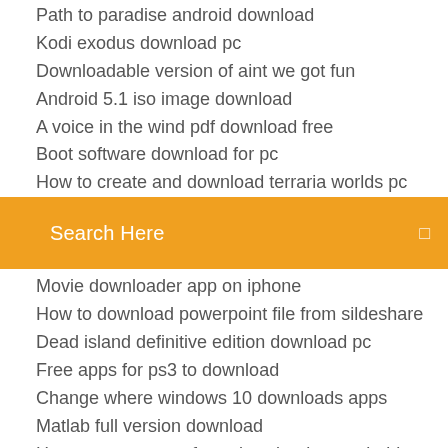Path to paradise android download
Kodi exodus download pc
Downloadable version of aint we got fun
Android 5.1 iso image download
A voice in the wind pdf download free
Boot software download for pc
How to create and download terraria worlds pc
[Figure (screenshot): Orange search bar with text 'Search Here' and a small icon on the right]
Movie downloader app on iphone
How to download powerpoint file from sildeshare
Dead island definitive edition download pc
Free apps for ps3 to download
Change where windows 10 downloads apps
Matlab full version download
Hoe to stop games from download on android
Download whatsapp backup file from icloud
Chuva de nectar da verdade download pdf
Download apple tv crack apps